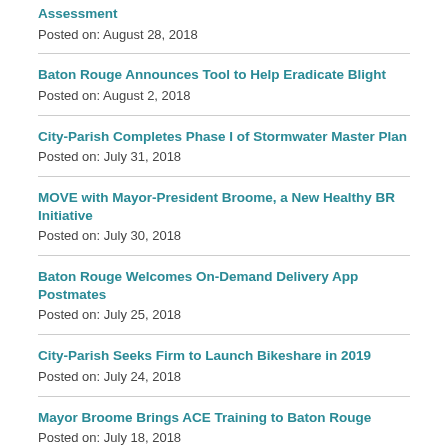Assessment
Posted on: August 28, 2018
Baton Rouge Announces Tool to Help Eradicate Blight
Posted on: August 2, 2018
City-Parish Completes Phase I of Stormwater Master Plan
Posted on: July 31, 2018
MOVE with Mayor-President Broome, a New Healthy BR Initiative
Posted on: July 30, 2018
Baton Rouge Welcomes On-Demand Delivery App Postmates
Posted on: July 25, 2018
City-Parish Seeks Firm to Launch Bikeshare in 2019
Posted on: July 24, 2018
Mayor Broome Brings ACE Training to Baton Rouge
Posted on: July 18, 2018